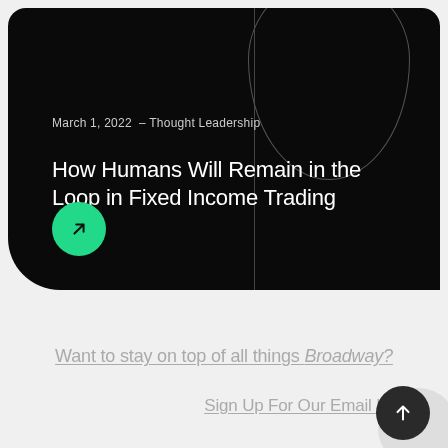March 1, 2022  – Thought Leadership
How Humans Will Remain in the Loop in Fixed Income Trading
Want to stay on top of all things Broadway?
Sign Up For Our Email List